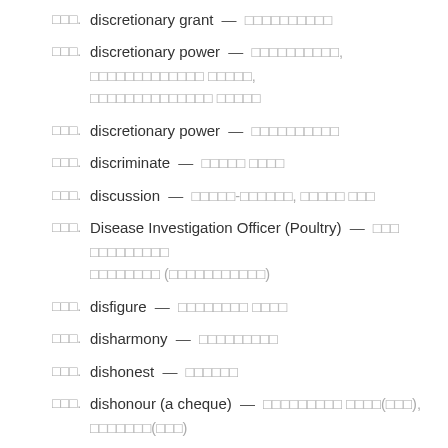□□□. discretionary grant — □□□□□□□□□□
□□□. discretionary power — □□□□□□□□□□, □□□□□□□□□□□□□ □□□□□, □□□□□□□□□□□□□□ □□□□□
□□□. discretionary power — □□□□□□□□□□
□□□. discriminate — □□□□□ □□□□
□□□. discussion — □□□□□-□□□□□□, □□□□□ □□□
□□□. Disease Investigation Officer (Poultry) — □□□ □□□□□□□□□ □□□□□□□□ (□□□□□□□□□□□)
□□□. disfigure — □□□□□□□□ □□□□
□□□. disharmony — □□□□□□□□□
□□□. dishonest — □□□□□□
□□□. dishonour (a cheque) — □□□□□□□□□ □□□□(□□□), □□□□□□□(□□□)
□□□. disintegration — □□□□□□